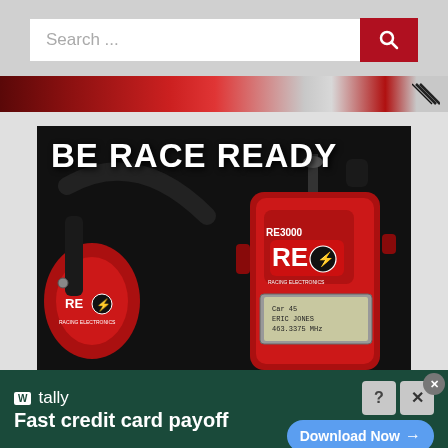[Figure (screenshot): Search bar UI with text input field showing 'Search ...' placeholder and a red search button with magnifying glass icon]
[Figure (photo): BE RACE READY advertisement image showing red Racing Electronics headphones and RE3000 radio scanner device on black background]
[Figure (screenshot): Tally app advertisement banner: 'Fast credit card payoff' with Download Now button, info and close buttons]